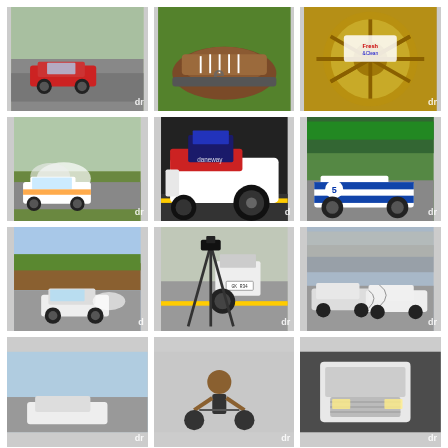[Figure (photo): Red racing car drifting on a track, low angle shot]
[Figure (photo): Brown sneaker shoe close-up on grass]
[Figure (photo): Gold wheel with Fresh & Clean product label]
[Figure (photo): White rally car drifting with smoke on track]
[Figure (photo): Close-up of modified car front - red and white with large engine]
[Figure (photo): Blue and white racing car number 5 on track]
[Figure (photo): White car drifting on track with trees in background]
[Figure (photo): White car rear with camera tripod on track]
[Figure (photo): Two white modified cars on track with crowd in background]
[Figure (photo): Car drifting, partially cut off at bottom of page]
[Figure (photo): Person on BMX bicycle, partially cut off at bottom]
[Figure (photo): White vintage truck/car in garage, partially cut off at bottom]